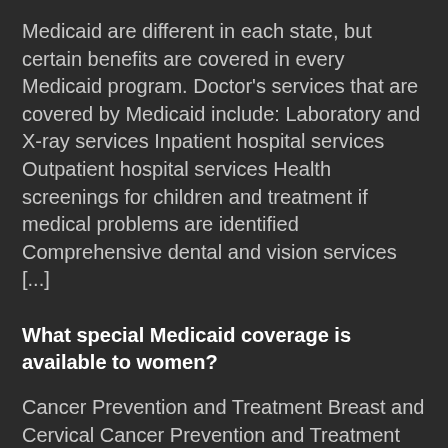Medicaid are different in each state, but certain benefits are covered in every Medicaid program. Doctor's services that are covered by Medicaid include: Laboratory and X-ray services Inpatient hospital services Outpatient hospital services Health screenings for children and treatment if medical problems are identified Comprehensive dental and vision services [...]
What special Medicaid coverage is available to women?
Cancer Prevention and Treatment Breast and Cervical Cancer Prevention and Treatment (BCCPT) Medicaid programs are available to eligible women who are diagnosed with either breast and/or cervical cancer through the state screening